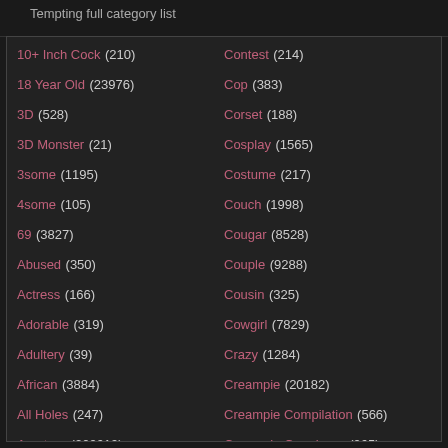Tempting full category list
10+ Inch Cock (210)
18 Year Old (23976)
3D (528)
3D Monster (21)
3some (1195)
4some (105)
69 (3827)
Abused (350)
Actress (166)
Adorable (319)
Adultery (39)
African (3884)
All Holes (247)
Amateur (209619)
Amateur Anal (15936)
Contest (214)
Cop (383)
Corset (188)
Cosplay (1565)
Costume (217)
Couch (1998)
Cougar (8528)
Couple (9288)
Cousin (325)
Cowgirl (7829)
Crazy (1284)
Creampie (20182)
Creampie Compilation (566)
Creampie Gangbang (965)
Crosssdressing (758)